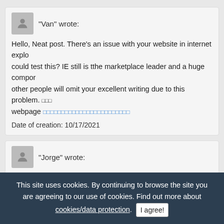"Van" wrote:
Hello, Neat post. There's an issue with your website in internet explo... could test this? IE still is tthe marketplace leader and a huge compo... other people will omit your excellent writing due to this problem. □□□□ webpage □□□□□□□□□□□□□□□□□□□□□□□□
Date of creation: 10/17/2021
"Jorge" wrote:
I was pretty pleased tto discover this web site. I need to to thank you... youyr time for this wonderrful read!! I definitely really liked every bbit... i also have you saved ass a favorite to see new things on your blog.
bạc chúc may mắn website sòng bạc hàng đầu
Date of creation: 10/17/2021
This site uses cookies. By continuing to browse the site you are agreeing to our use of cookies. Find out more about cookies/data protection. I agree!